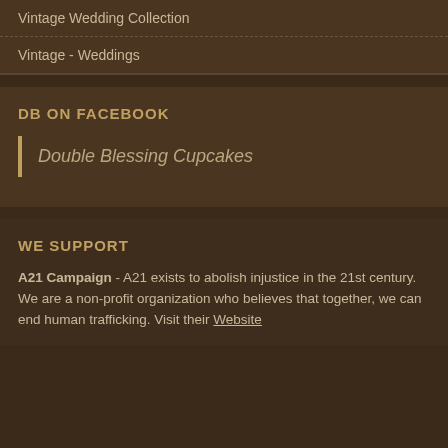Vintage Wedding Collection
Vintage - Weddings
DB ON FACEBOOK
Double Blessing Cupcakes
WE SUPPORT
A21 Campaign - A21 exists to abolish injustice in the 21st century. We are a non-profit organization who believes that together, we can end human trafficking. Visit their Website